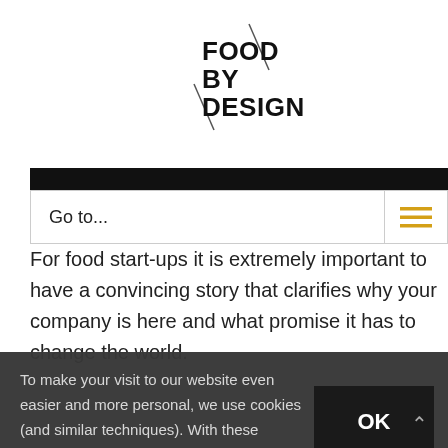[Figure (logo): Food By Design logo with diagonal slash marks, bold black text FOOD BY DESIGN]
Go to...
For food start-ups it is extremely important to have a convincing story that clarifies why your company is here and what promise it has to change the world.
To make your visit to our website even easier and more personal, we use cookies (and similar techniques). With these cookies we and third parties can collect information about you and monitor your internet behavior within (and possibly also outside) our website.